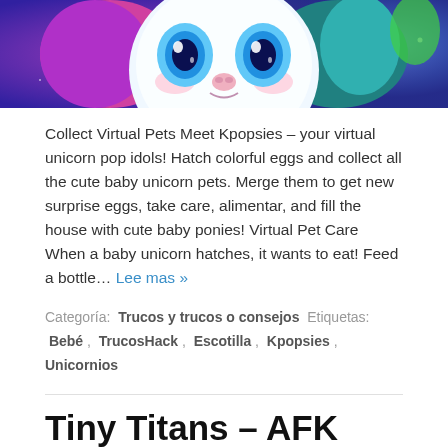[Figure (illustration): Close-up illustration of a cute cartoon unicorn face with big blue eyes, pink nose, white fluffy face, colorful pink and purple hair, and teal/rainbow accents on a purple/blue sparkly background.]
Collect Virtual Pets Meet Kpopsies – your virtual unicorn pop idols! Hatch colorful eggs and collect all the cute baby unicorn pets. Merge them to get new surprise eggs, take care, alimentar, and fill the house with cute baby ponies! Virtual Pet Care When a baby unicorn hatches, it wants to eat! Feed a bottle… Lee mas »
Categoría: Trucos y trucos o consejos  Etiquetas: Bebé , TrucosHack , Escotilla , Kpopsies , Unicornios
Tiny Titans – AFK Auto Battles Cheats&Cortar a tajos